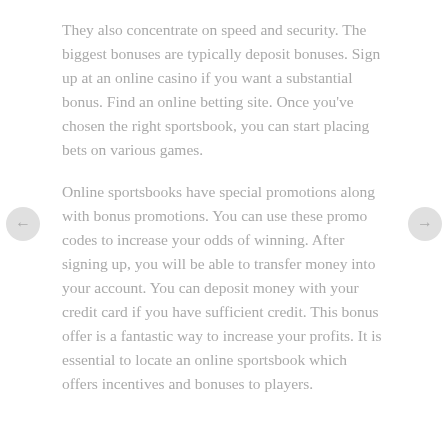They also concentrate on speed and security. The biggest bonuses are typically deposit bonuses. Sign up at an online casino if you want a substantial bonus. Find an online betting site. Once you've chosen the right sportsbook, you can start placing bets on various games.
Online sportsbooks have special promotions along with bonus promotions. You can use these promo codes to increase your odds of winning. After signing up, you will be able to transfer money into your account. You can deposit money with your credit card if you have sufficient credit. This bonus offer is a fantastic way to increase your profits. It is essential to locate an online sportsbook which offers incentives and bonuses to players.